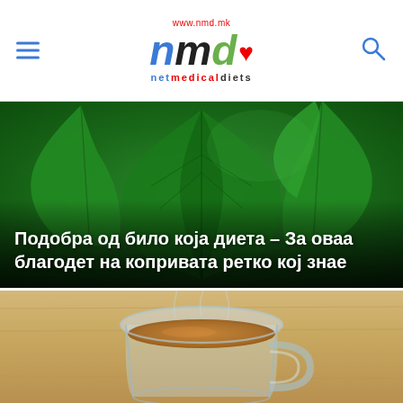www.nmd.mk | nmd netmedicaldiets
[Figure (photo): Close-up photo of green nettle leaves with title overlay: Подобра од било која диета – За оваа благодет на копривата ретко кој знае]
[Figure (photo): Photo of a glass cup of herbal tea on a wooden surface]